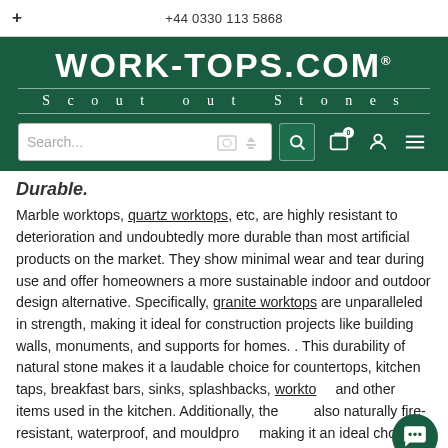+ | +44 0330 113 5868
[Figure (logo): WORK-TOPS.COM logo with tagline 'Scout out Stones' on dark green background, with search bar and navigation icons]
Durable.
Marble worktops, quartz worktops, etc, are highly resistant to deterioration and undoubtedly more durable than most artificial products on the market. They show minimal wear and tear during use and offer homeowners a more sustainable indoor and outdoor design alternative. Specifically, granite worktops are unparalleled in strength, making it ideal for construction projects like building walls, monuments, and supports for homes. . This durability of natural stone makes it a laudable choice for countertops, kitchen taps, breakfast bars, sinks, splashbacks, worktops and other items used in the kitchen. Additionally, the also naturally fire-resistant, waterproof, and mouldpro making it an ideal choice for rooms in your home that are